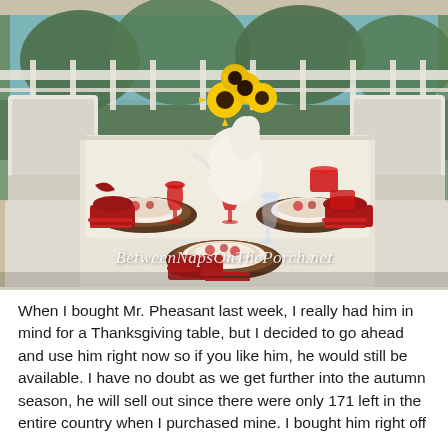[Figure (photo): A decorated table set with plates on wooden chargers, red napkins, red glassware, and a white ceramic bird centerpiece (pheasant) holding a bouquet of yellow sunflowers. White wicker chairs surround the table. The setting is on an outdoor porch with trees visible in the background. A watermark reads 'BetweenNapsOnThePorch.net' in white italic text.]
When I bought Mr. Pheasant last week, I really had him in mind for a Thanksgiving table, but I decided to go ahead and use him right now so if you like him, he would still be available. I have no doubt as we get further into the autumn season, he will sell out since there were only 171 left in the entire country when I purchased mine. I bought him right off